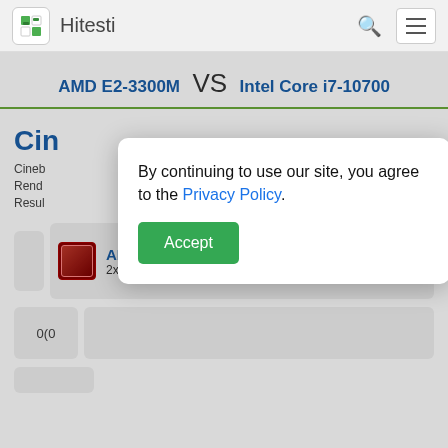Hitesti
AMD E2-3300M VS Intel Core i7-10700
Cin
Cinebench ... CPU Rendering Results
By continuing to use our site, you agree to the Privacy Policy. Accept
AMD E2-3300M 2x 1.80 GHz (2.20 GHz)
0(0